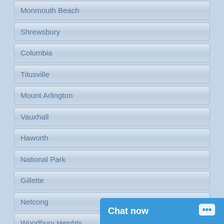Monmouth Beach
Shrewsbury
Columbia
Titusville
Mount Arlington
Vauxhall
Haworth
National Park
Gillette
Netcong
Woodbury Heights
Cedar Knolls
Great Meadows
Cream Ridge